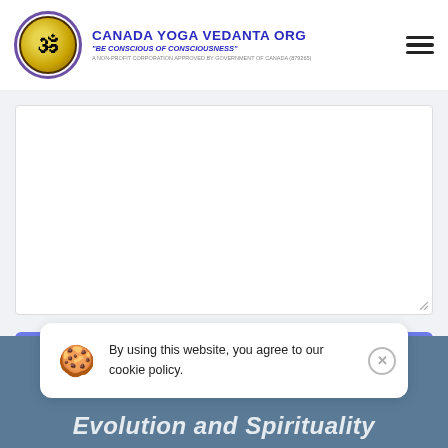CANADA YOGA VEDANTA ORG "BE CONSCIOUS OF CONSCIOUSNESS"
[Figure (screenshot): Comment text area input box, empty, with resize handle at bottom right]
Post Comment
By using this website, you agree to our cookie policy.
Evolution and Spirituality